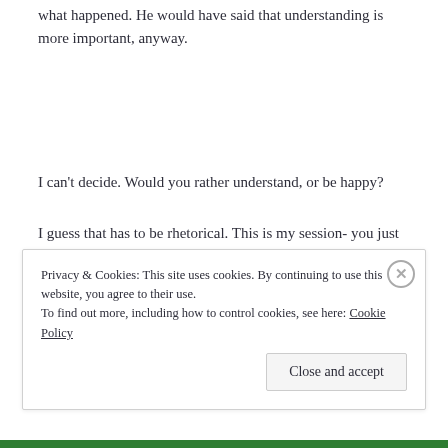what happened. He would have said that understanding is more important, anyway.
I can’t decide. Would you rather understand, or be happy?
I guess that has to be rhetorical. This is my session- you just ask hard questions. Like what it was like to not be with him. It was-
Privacy & Cookies: This site uses cookies. By continuing to use this website, you agree to their use. To find out more, including how to control cookies, see here: Cookie Policy
Close and accept